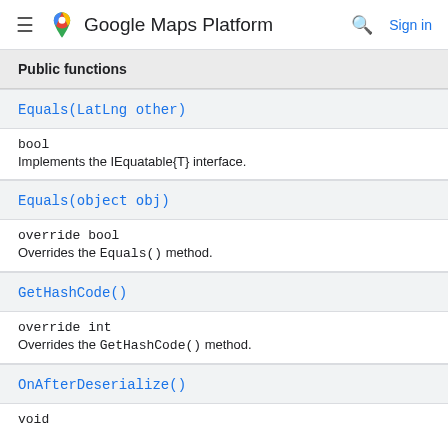Google Maps Platform  Sign in
Public functions
Equals(LatLng other)
bool
Implements the IEquatable{T} interface.
Equals(object obj)
override bool
Overrides the Equals() method.
GetHashCode()
override int
Overrides the GetHashCode() method.
OnAfterDeserialize()
void